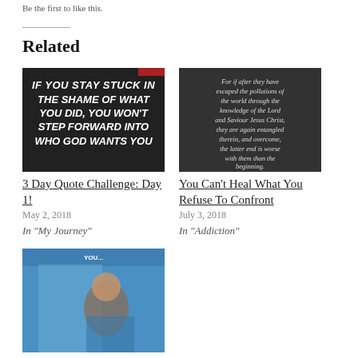Be the first to like this.
Related
[Figure (photo): Dark chalkboard image with white bold italic text reading: IF YOU STAY STUCK IN THE SHAME OF WHAT YOU DID, YOU WON'T STEP FORWARD INTO WHO GOD WANTS YOU]
3 Day Quote Challenge: Day 1!
May 2, 2018
In "My Journey"
[Figure (photo): Dark grey background with italic serif text: For if after they have escaped the pollutions of the world through the knowledge of the Lord and Saviour Jesus Christ, they are again entangled therein, and overcome, the latter end is worse with them than the beginning.]
You Can’t Heal What You Refuse To Confront
July 3, 2018
In "Addiction"
[Figure (photo): Blue-toned photo of a blonde woman with a child, text overlay at top reads YOU...]